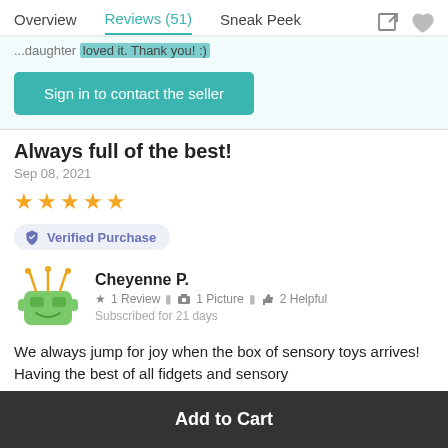Overview   Reviews (51)   Sneak Peek
...daughter loved it. Thank you! :)
Sign in to contact the seller
Always full of the best!
Sep 08, 2021
★★★★★
Verified Purchase
Cheyenne P.
★ 1 Review  📷 1 Picture  👍 2 Helpful
Subscribed for 21 days
We always jump for joy when the box of sensory toys arrives! Having the best of all fidgets and sensory
Add to Cart